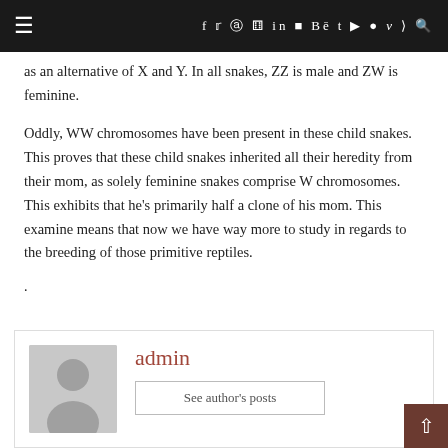≡  f  𝕥  © ⊕  in  ⬛  Bē  t  ▶  ◉  v  ᗑ  🔍
as an alternative of X and Y. In all snakes, ZZ is male and ZW is feminine.
Oddly, WW chromosomes have been present in these child snakes. This proves that these child snakes inherited all their heredity from their mom, as solely feminine snakes comprise W chromosomes. This exhibits that he's primarily half a clone of his mom. This examine means that now we have way more to study in regards to the breeding of those primitive reptiles.
.
admin
See author's posts